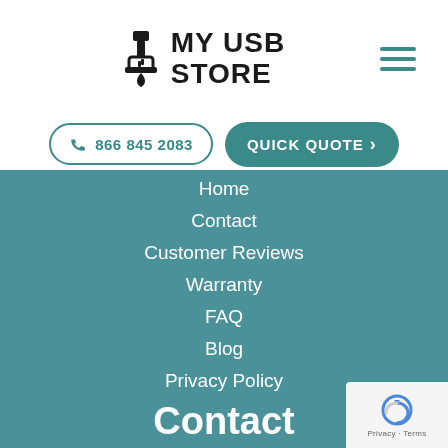MY USB STORE
866 845 2083
QUICK QUOTE
Home
Contact
Customer Reviews
Warranty
FAQ
Blog
Privacy Policy
Sitemap
Locations
Contact